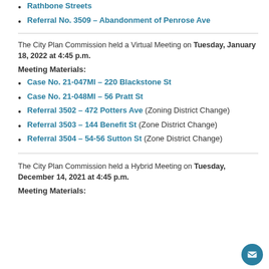Rathbone Streets
Referral No. 3509 – Abandonment of Penrose Ave
The City Plan Commission held a Virtual Meeting on Tuesday, January 18, 2022 at 4:45 p.m.
Meeting Materials:
Case No. 21-047MI – 220 Blackstone St
Case No. 21-048MI – 56 Pratt St
Referral 3502 – 472 Potters Ave (Zoning District Change)
Referral 3503 – 144 Benefit St (Zone District Change)
Referral 3504 – 54-56 Sutton St (Zone District Change)
The City Plan Commission held a Hybrid Meeting on Tuesday, December 14, 2021 at 4:45 p.m.
Meeting Materials: